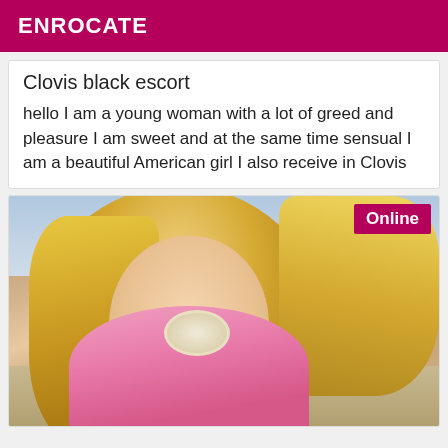ENROCATE
Clovis black escort
hello I am a young woman with a lot of greed and pleasure I am sweet and at the same time sensual I am a beautiful American girl I also receive in Clovis
[Figure (photo): Blonde woman in pink outfit posing outdoors with Online badge overlay]